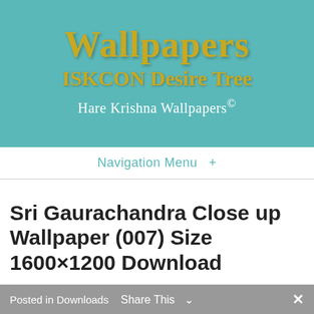[Figure (logo): ISKCON Desire Tree Wallpapers website header banner with teal background showing 'Wallpapers' in gold serif font, 'ISKCON Desire Tree' in gold serif font, and 'Hare Krishna Wallpapers©' in white serif font]
Navigation Menu  +
Sri Gaurachandra Close up Wallpaper (007) Size 1600×1200 Download
Posted in Downloads    Share This  ✓   ✕